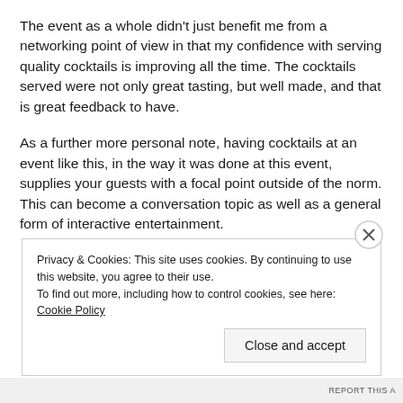The event as a whole didn't just benefit me from a networking point of view in that my confidence with serving quality cocktails is improving all the time. The cocktails served were not only great tasting, but well made, and that is great feedback to have.
As a further more personal note, having cocktails at an event like this, in the way it was done at this event, supplies your guests with a focal point outside of the norm. This can become a conversation topic as well as a general form of interactive entertainment.
Privacy & Cookies: This site uses cookies. By continuing to use this website, you agree to their use.
To find out more, including how to control cookies, see here: Cookie Policy
Close and accept